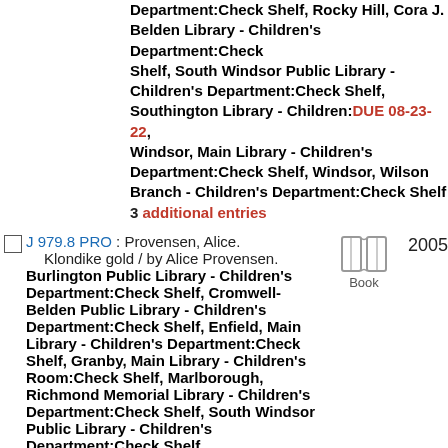Department:Check Shelf, Rocky Hill, Cora J. Belden Library - Children's Department:Check Shelf, South Windsor Public Library - Children's Department:Check Shelf, Southington Library - Children:DUE 08-23-22, Windsor, Main Library - Children's Department:Check Shelf, Windsor, Wilson Branch - Children's Department:Check Shelf
3 additional entries
J 979.8 PRO : Provensen, Alice.
Klondike gold / by Alice Provensen. Burlington Public Library - Children's Department:Check Shelf, Cromwell-Belden Public Library - Children's Department:Check Shelf, Enfield, Main Library - Children's Department:Check Shelf, Granby, Main Library - Children's Room:Check Shelf, Marlborough, Richmond Memorial Library - Children's Department:Check Shelf, South Windsor Public Library - Children's Department:Check Shelf
2005 Book
J 979.8 SAN
The impossible rescue : the true story of an amazing arctic adventure / Martin Sandler. Avon Free Public Library - Teen:Check Shelf, Bristol, Main Library - Children's Department:Check Shelf, Canton Public Library - Children's Department:Check Shelf, Cheshire Public Library - Children's
2012 Book